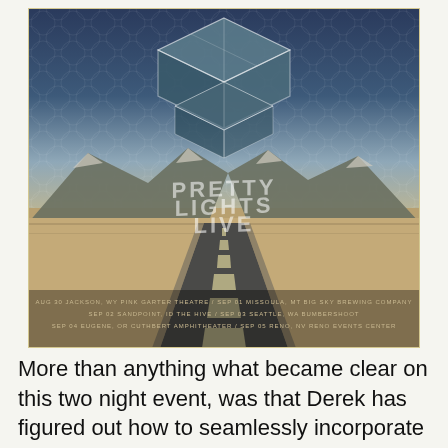[Figure (illustration): Concert poster for Pretty Lights Live tour. Features a stylized isometric 3D cube shape at top against a blue geometric patterned sky, with a desert highway scene below showing mountains, a straight road vanishing into the horizon, and sepia-toned landscape. Text reads PRETTY LIGHTS LIVE with tour dates: AUG 30 JACKSON, WY PINK GARTER THEATRE / SEP 01 MISSOULA, MT BIG SKY BREWING COMPANY / SEP 02 SANDPOINT, ID THE HIVE / SEP 03 SEATTLE, WA BUMBERSHOOT / SEP 04 EUGENE, OR CUTHBERT AMPHITHEATER / SEP 05 RENO, NV RENO EVENTS CENTER]
More than anything what became clear on this two night event, was that Derek has figured out how to seamlessly incorporate his modular analog